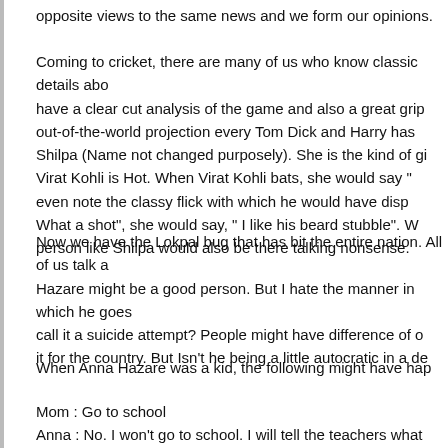opposite views to the same news and we form our opinions.
Coming to cricket, there are many of us who know classic details abo... have a clear cut analysis of the game and also a great grip... out-of-the-world projection every Tom Dick and Harry has... Shilpa (Name not changed purposely). She is the kind of gi... Virat Kohli is Hot. When Virat Kohli bats, she would say "... even note the classy flick with which he would have disp... What a shot", she would say, " I like his beard stubble". W... person like Shilpa would also be there talking nonsense.
Now we have the Lokpal bug that has bit the entire nation. All of us talk... Hazare might be a good person. But I hate the manner in which he goes... call it a suicide attempt? People might have difference of o... it for the country. But Isn't he being a little autocratic in a de...
When Anna Hazare was a kid, the following might have hap...
Mom : Go to school
Anna : No. I won't go to school. I will tell the teachers what...